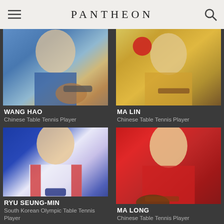PANTHEON
[Figure (photo): Wang Hao, Chinese table tennis player, partially cropped photo showing player in blue shirt holding a paddle]
WANG HAO
Chinese Table Tennis Player
[Figure (photo): Ma Lin, Chinese table tennis player, partially cropped photo showing player in yellow shirt]
MA LIN
Chinese Table Tennis Player
[Figure (photo): Ryu Seung-Min, South Korean Olympic table tennis player, photo showing player in white and navy jacket]
RYU SEUNG-MIN
South Korean Olympic Table Tennis Player
[Figure (photo): Ma Long, Chinese table tennis player, photo showing player in red Chinese team jersey holding paddle]
MA LONG
Chinese Table Tennis Player